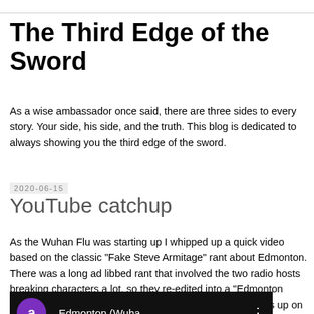The Third Edge of the Sword
As a wise ambassador once said, there are three sides to every story. Your side, his side, and the truth. This blog is dedicated to always showing you the third edge of the sword.
2020-06-15
YouTube catchup
As the Wuhan Flu was starting up I whipped up a quick video based on the classic "Fake Steve Armitage" rant about Edmonton. There was a long ad libbed rant that involved the two radio hosts breaking characters a lot, so they re-edited into a "Edmonton promotional DVD". I then threw some basic COVID images up on there and got this:
[Figure (screenshot): Video thumbnail showing a purple circle with letter 'a' and text 'Edmonton (Wuha' on a black background with a three-dot menu icon.]